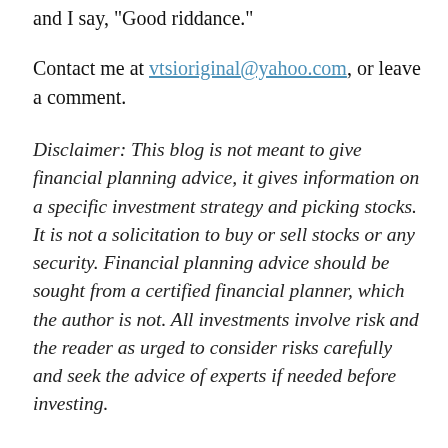and I say, "Good riddance."
Contact me at vtsioriginal@yahoo.com, or leave a comment.
Disclaimer: This blog is not meant to give financial planning advice, it gives information on a specific investment strategy and picking stocks. It is not a solicitation to buy or sell stocks or any security. Financial planning advice should be sought from a certified financial planner, which the author is not. All investments involve risk and the reader as urged to consider risks carefully and seek the advice of experts if needed before investing.